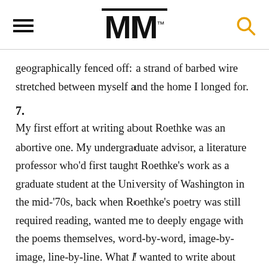MM
geographically fenced off: a strand of barbed wire stretched between myself and the home I longed for.
7.
My first effort at writing about Roethke was an abortive one. My undergraduate advisor, a literature professor who'd first taught Roethke's work as a graduate student at the University of Washington in the mid-'70s, back when Roethke's poetry was still required reading, wanted me to deeply engage with the poems themselves, word-by-word, image-by-image, line-by-line. What I wanted to write about was the part of my self that reading Roethke had brought screaming onto the center